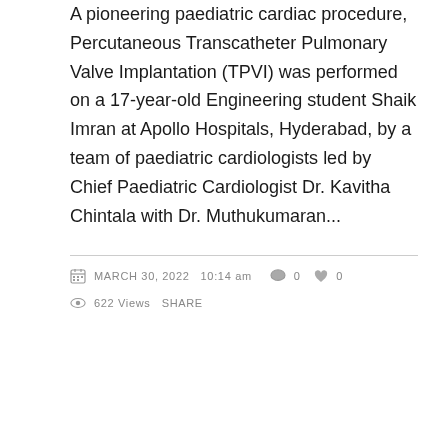A pioneering paediatric cardiac procedure, Percutaneous Transcatheter Pulmonary Valve Implantation (TPVI) was performed on a 17-year-old Engineering student Shaik Imran at Apollo Hospitals, Hyderabad, by a team of paediatric cardiologists led by Chief Paediatric Cardiologist Dr. Kavitha Chintala with Dr. Muthukumaran...
MARCH 30, 2022  10:14 am  0  0  622 Views  SHARE